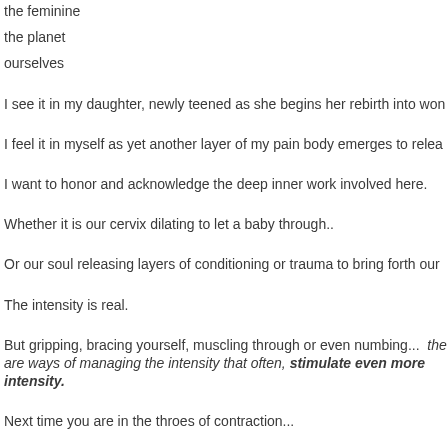the feminine
the planet
ourselves
I see it in my daughter, newly teened as she begins her rebirth into won
I feel it in myself as yet another layer of my pain body emerges to relea
I want to honor and acknowledge the deep inner work involved here.
Whether it is our cervix dilating to let a baby through..
Or our soul releasing layers of conditioning or trauma to bring forth our
The intensity is real.
But gripping, bracing yourself, muscling through or even numbing...  the are ways of managing the intensity that often, stimulate even more intensity.
Next time you are in the throes of contraction...